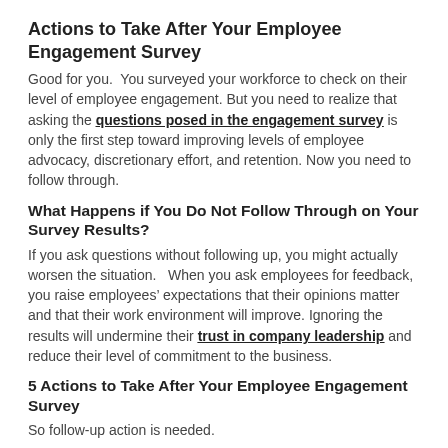Actions to Take After Your Employee Engagement Survey
Good for you.  You surveyed your workforce to check on their level of employee engagement. But you need to realize that asking the questions posed in the engagement survey is only the first step toward improving levels of employee advocacy, discretionary effort, and retention. Now you need to follow through.
What Happens if You Do Not Follow Through on Your Survey Results?
If you ask questions without following up, you might actually worsen the situation.   When you ask employees for feedback, you raise employees’ expectations that their opinions matter and that their work environment will improve. Ignoring the results will undermine their trust in company leadership and reduce their level of commitment to the business.
5 Actions to Take After Your Employee Engagement Survey
So follow-up action is needed.